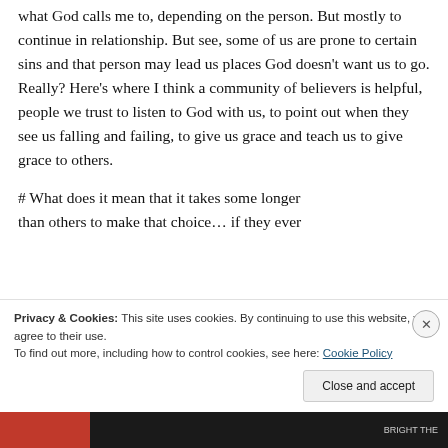what God calls me to, depending on the person. But mostly to continue in relationship. But see, some of us are prone to certain sins and that person may lead us places God doesn't want us to go. Really? Here's where I think a community of believers is helpful, people we trust to listen to God with us, to point out when they see us falling and failing, to give us grace and teach us to give grace to others.
# What does it mean that it takes some longer than others to make that choice… if they ever
Privacy & Cookies: This site uses cookies. By continuing to use this website, you agree to their use.
To find out more, including how to control cookies, see here: Cookie Policy